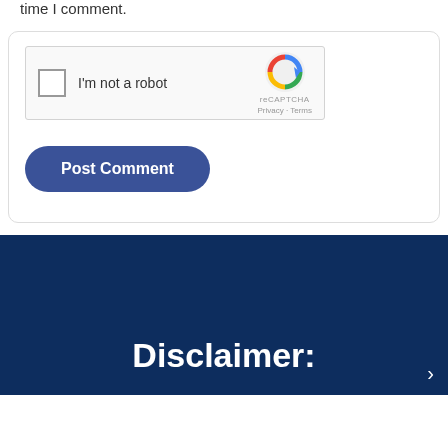time I comment.
[Figure (screenshot): reCAPTCHA widget with checkbox labeled 'I'm not a robot', reCAPTCHA logo, Privacy and Terms links]
Post Comment
Disclaimer: